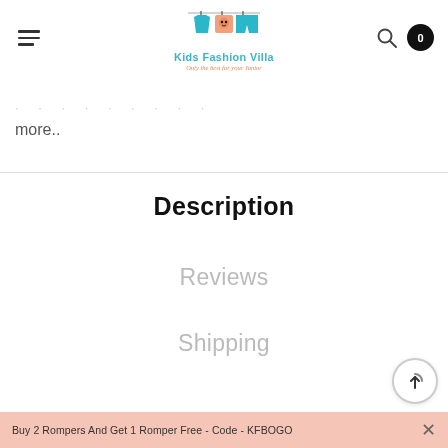Kids Fashion Villa - Only the best for your Junior
more..
Description
Reviews
Shipping
Buy 2 Rompers And Get 1 Romper Free - Code - KFBOGO